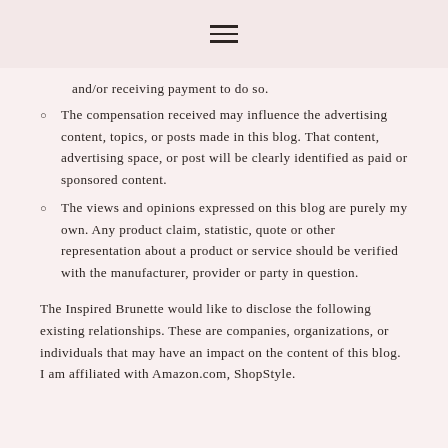≡
and/or receiving payment to do so.
The compensation received may influence the advertising content, topics, or posts made in this blog. That content, advertising space, or post will be clearly identified as paid or sponsored content.
The views and opinions expressed on this blog are purely my own. Any product claim, statistic, quote or other representation about a product or service should be verified with the manufacturer, provider or party in question.
The Inspired Brunette would like to disclose the following existing relationships. These are companies, organizations, or individuals that may have an impact on the content of this blog. I am affiliated with Amazon.com, ShopStyle.